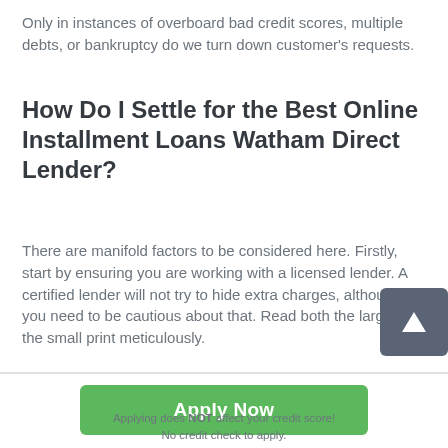Only in instances of overboard bad credit scores, multiple debts, or bankruptcy do we turn down customer's requests.
How Do I Settle for the Best Online Installment Loans Watham Direct Lender?
There are manifold factors to be considered here. Firstly, start by ensuring you are working with a licensed lender. A certified lender will not try to hide extra charges, although you need to be cautious about that. Read both the large and the small print meticulously.
Apply Now
Applying does NOT affect your credit score!
No credit check to apply.